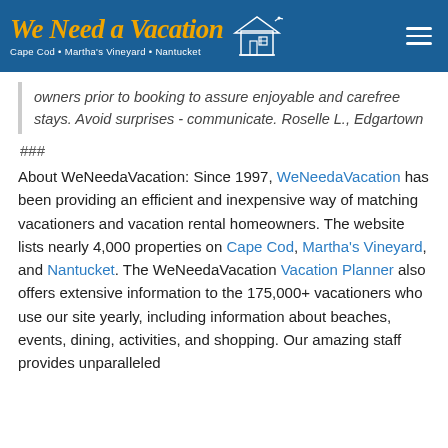We Need a Vacation — Cape Cod • Martha's Vineyard • Nantucket
owners prior to booking to assure enjoyable and carefree stays. Avoid surprises - communicate. Roselle L., Edgartown
###
About WeNeedaVacation: Since 1997, WeNeedaVacation has been providing an efficient and inexpensive way of matching vacationers and vacation rental homeowners. The website lists nearly 4,000 properties on Cape Cod, Martha's Vineyard, and Nantucket. The WeNeedaVacation Vacation Planner also offers extensive information to the 175,000+ vacationers who use our site yearly, including information about beaches, events, dining, activities, and shopping. Our amazing staff provides unparalleled